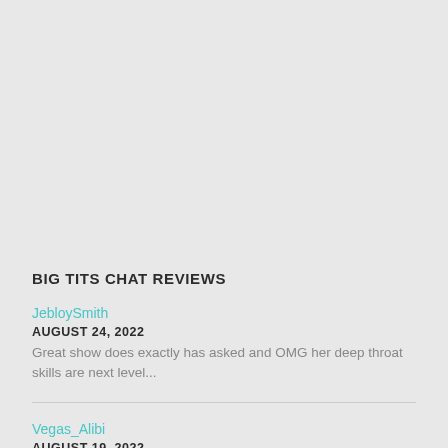BIG TITS CHAT REVIEWS
JebloySmith
AUGUST 24, 2022
Great show does exactly has asked and OMG her deep throat skills are next level...
Vegas_Alibi
AUGUST 19, 2022